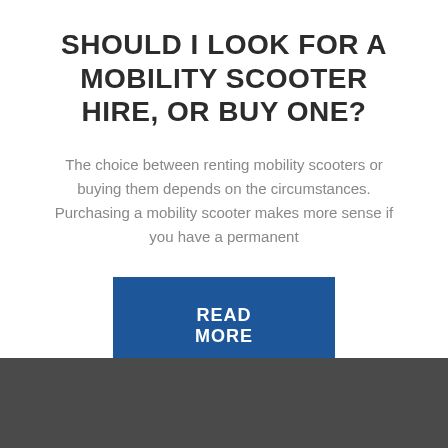SHOULD I LOOK FOR A MOBILITY SCOOTER HIRE, OR BUY ONE?
The choice between renting mobility scooters or buying them depends on the circumstances. Purchasing a mobility scooter makes more sense if you have a permanent
[Figure (other): Blue rectangular button with white bold uppercase text reading READ MORE]